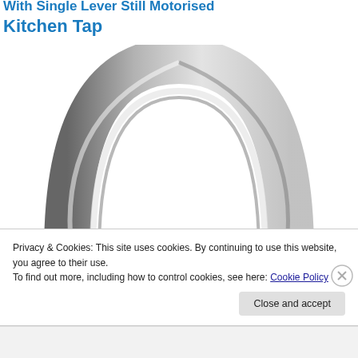With Single Lever Still Motorised
Kitchen Tap
[Figure (photo): Close-up photo of a chrome/stainless steel kitchen tap spout, showing the arc of the spout from a top-down perspective against a white background.]
Privacy & Cookies: This site uses cookies. By continuing to use this website, you agree to their use.
To find out more, including how to control cookies, see here: Cookie Policy
Close and accept